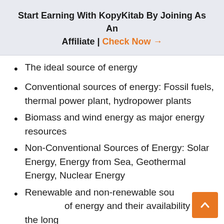Start Earning With KopyKitab By Joining As An Affiliate | Check Now →
The ideal source of energy
Conventional sources of energy: Fossil fuels, thermal power plant, hydropower plants
Biomass and wind energy as major energy resources
Non-Conventional Sources of Energy: Solar Energy, Energy from Sea, Geothermal Energy, Nuclear Energy
Renewable and non-renewable sources of energy and their availability in the long